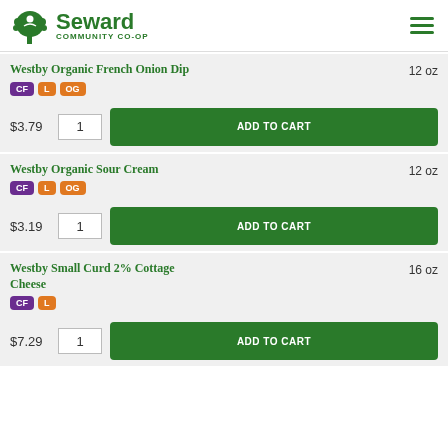[Figure (logo): Seward Community Co-op logo with green tree icon and text]
Westby Organic French Onion Dip  12 oz  CF  L  OG  $3.79  1  ADD TO CART
Westby Organic Sour Cream  12 oz  CF  L  OG  $3.19  1  ADD TO CART
Westby Small Curd 2% Cottage Cheese  16 oz  CF  L  $7.29  1  ADD TO CART